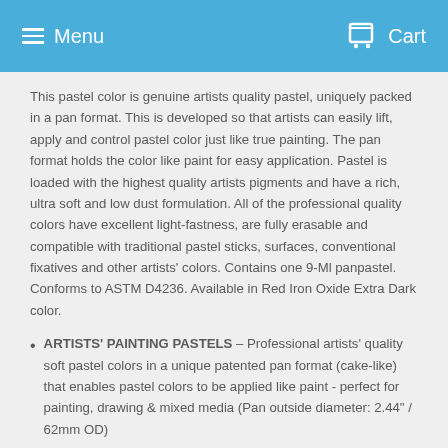Menu  Cart
This pastel color is genuine artists quality pastel, uniquely packed in a pan format. This is developed so that artists can easily lift, apply and control pastel color just like true painting. The pan format holds the color like paint for easy application. Pastel is loaded with the highest quality artists pigments and have a rich, ultra soft and low dust formulation. All of the professional quality colors have excellent light-fastness, are fully erasable and compatible with traditional pastel sticks, surfaces, conventional fixatives and other artists' colors. Contains one 9-Ml panpastel. Conforms to ASTM D4236. Available in Red Iron Oxide Extra Dark color.
ARTISTS' PAINTING PASTELS – Professional artists' quality soft pastel colors in a unique patented pan format (cake-like) that enables pastel colors to be applied like paint - perfect for painting, drawing & mixed media (Pan outside diameter: 2.44" / 62mm OD)
HIGHLY PIGMENTED & ULTRA SOFT – Loaded with the finest quality artists' pigments for the most concentrated colors possible and made with minimal binder and fillers for rich, super-blendable,